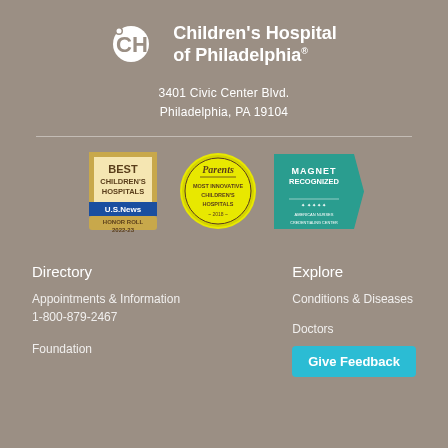[Figure (logo): Children's Hospital of Philadelphia logo with stylized CH icon and text]
3401 Civic Center Blvd.
Philadelphia, PA 19104
[Figure (illustration): Three award badges: US News Best Children's Hospitals Honor Roll 2022-23, Parents Most Innovative Children's Hospitals 2018, Magnet Recognized by American Nurses Credentialing Center]
Directory
Explore
Appointments & Information
1-800-879-2467
Conditions & Diseases
Foundation
Doctors
Give Feedback